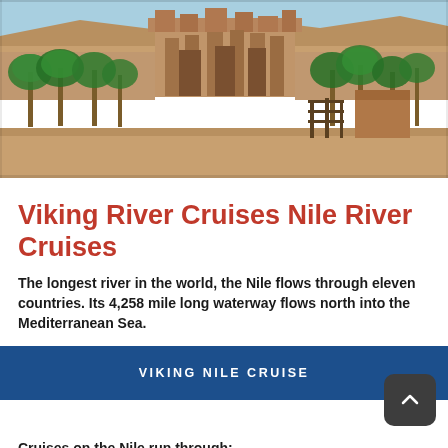[Figure (photo): Photograph of an ancient Egyptian temple complex (likely Kom Ombo or similar) with large stone pylons and columns, surrounded by palm trees and desert hills in the background under a blue sky.]
Viking River Cruises Nile River Cruises
The longest river in the world, the Nile flows through eleven countries. Its 4,258 mile long waterway flows north into the Mediterranean Sea.
VIKING NILE CRUISE
Cruises on the Nile run through: